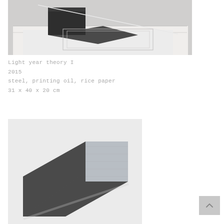[Figure (photo): Close-up photograph of an artwork showing dark steel block with a diagonal line (rod or wire) and white geometric surface elements, displayed on a white pedestal.]
Light year theory I
2015
steel, printing oil, rice paper
31 x 40 x 20 cm
[Figure (photo): Photograph of a wall-mounted sculpture consisting of overlapping parallelogram-shaped dark steel panels with a lighter grey rectangular section, hung on a white wall.]